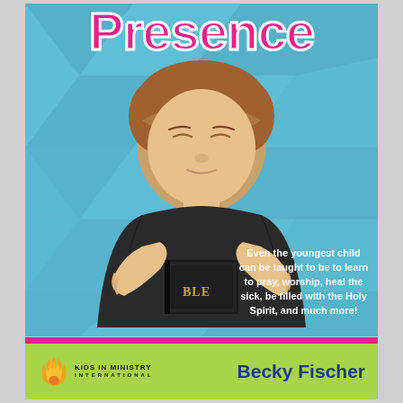Presence
[Figure (photo): Young boy with eyes closed and hands clasped in prayer, holding a black Bible, photographed against a blue geometric background]
Even the youngest child can be taught to be to learn to pray, worship, heal the sick, be filled with the Holy Spirit, and much more!
[Figure (logo): Kids In Ministry International logo with flame icon]
Becky Fischer